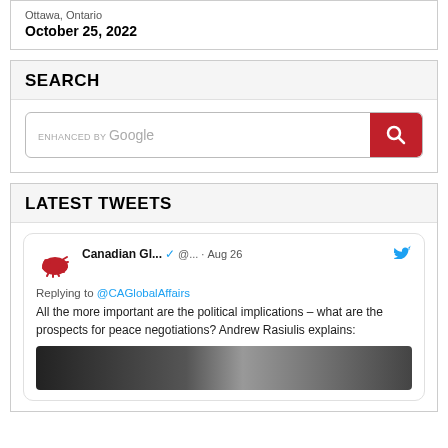Ottawa, Ontario
October 25, 2022
SEARCH
[Figure (screenshot): Google enhanced search bar with red search button]
LATEST TWEETS
Canadian Gl... @... · Aug 26
Replying to @CAGlobalAffairs
All the more important are the political implications – what are the prospects for peace negotiations? Andrew Rasiulis explains: